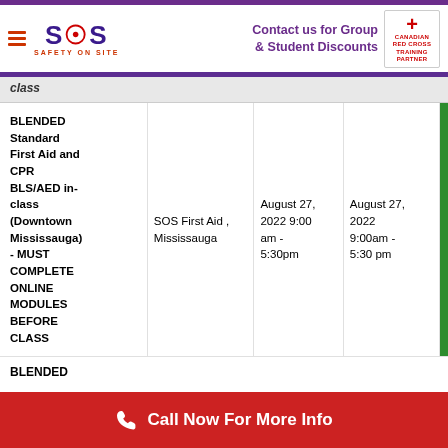SOS Safety On Site | Contact us for Group & Student Discounts | Canadian Red Cross Training Partner
class
| Course | Location | Start | End | Status |
| --- | --- | --- | --- | --- |
| BLENDED Standard First Aid and CPR BLS/AED in-class (Downtown Mississauga) - MUST COMPLETE ONLINE MODULES BEFORE CLASS | SOS First Aid , Mississauga | August 27, 2022 9:00 am - 5:30pm | August 27, 2022 9:00am - 5:30 pm |  |
| BLENDED |  |  |  |  |
Call Now For More Info